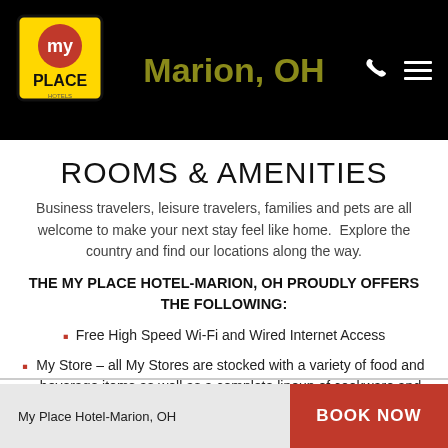Marion, OH
ROOMS & AMENITIES
Business travelers, leisure travelers, families and pets are all welcome to make your next stay feel like home.  Explore the country and find our locations along the way.
THE MY PLACE HOTEL-MARION, OH PROUDLY OFFERS THE FOLLOWING:
Free High Speed Wi-Fi and Wired Internet Access
My Store – all My Stores are stocked with a variety of food and beverage items as well as a complete lineup of cookware and utensils for convenient purchase anytime
My Place Hotel-Marion, OH  BOOK NOW